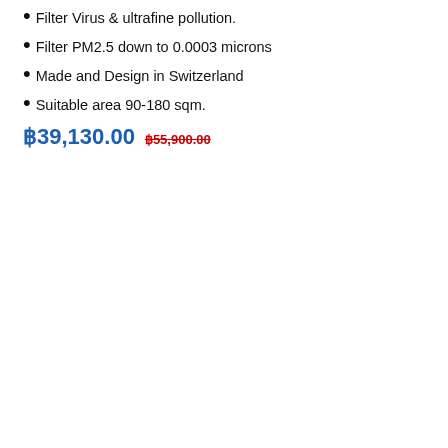Filter Virus & ultrafine pollution.
Filter PM2.5 down to 0.0003 microns
Made and Design in Switzerland
Suitable area 90-180 sqm.
฿39,130.00  ฿55,900.00